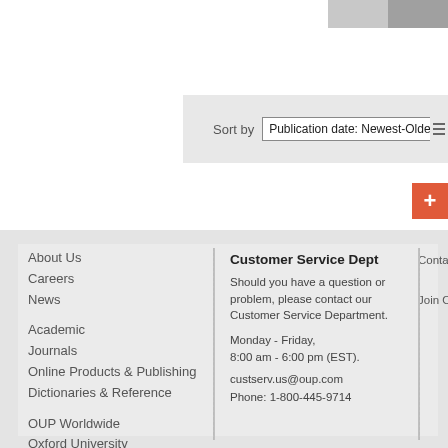[Figure (photo): Partial book cover image visible at top right corner of page]
Sort by  Publication date: Newest-Oldest ▼
[Figure (other): Red plus button icon]
About Us
Careers
News
Academic
Journals
Online Products & Publishing
Dictionaries & Reference
OUP Worldwide
Oxford University
Customer Service Dept
Should you have a question or problem, please contact our Customer Service Department.
Monday - Friday,
8:00 am - 6:00 pm (EST).
custserv.us@oup.com
Phone: 1-800-445-9714
Contact U
Join Our E